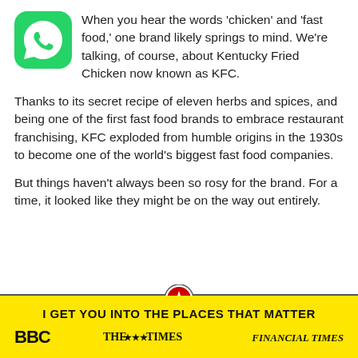[Figure (logo): WhatsApp green rounded square app icon with white speech bubble]
When you hear the words 'chicken' and 'fast food,' one brand likely springs to mind. We're talking, of course, about Kentucky Fried Chicken now known as KFC.
Thanks to its secret recipe of eleven herbs and spices, and being one of the first fast food brands to embrace restaurant franchising, KFC exploded from humble origins in the 1930s to become one of the world's biggest fast food companies.
But things haven't always been so rosy for the brand. For a time, it looked like they might be on the way out entirely.
I GET YOU INTO THE PLACES THAT MATTER
[Figure (logo): BBC logo in bold black]
[Figure (logo): The Sunday Times logo]
[Figure (logo): Financial Times logo in italic]